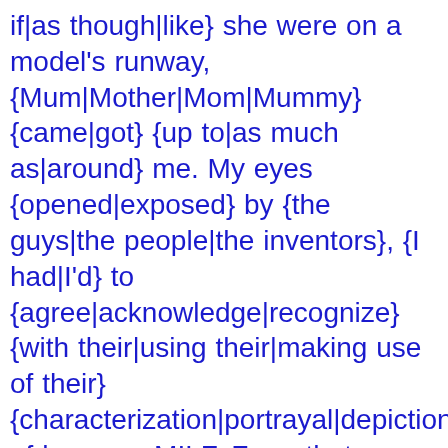if|as though|like} she were on a model's runway, {Mum|Mother|Mom|Mummy} {came|got} {up to|as much as|around} me. My eyes {opened|exposed} by {the guys|the people|the inventors}, {I had|I'd} to {agree|acknowledge|recognize} {with their|using their|making use of their} {characterization|portrayal|depiction} of her as a MILF. From that {afternoon|morning|day|evening} onward, I {sought|wanted} out {opportunities|possibilities|options} {to check out|to look at|to see} my MILF. It {didn't|did not} {matter|subject} if she